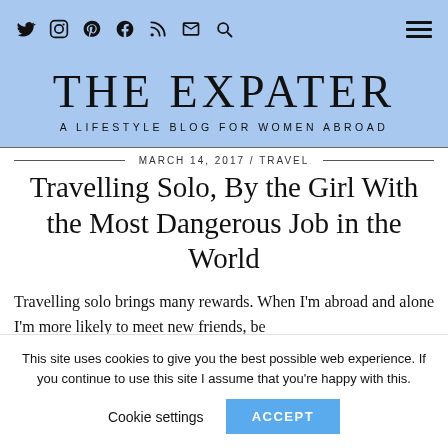THE EXPATER — Navigation bar with social icons and hamburger menu
THE EXPATER
A LIFESTYLE BLOG FOR WOMEN ABROAD
MARCH 14, 2017 / TRAVEL
Travelling Solo, By the Girl With the Most Dangerous Job in the World
Travelling solo brings many rewards. When I'm abroad and alone I'm more likely to meet new friends, be
This site uses cookies to give you the best possible web experience. If you continue to use this site I assume that you're happy with this.